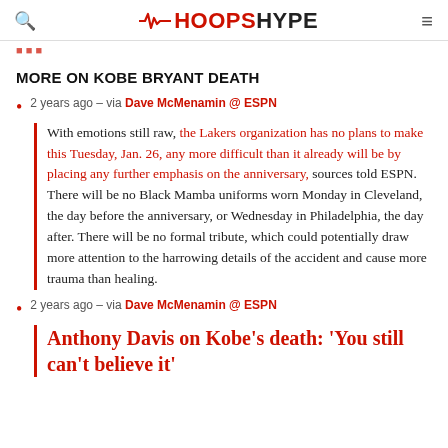HOOPSHYPE
MORE ON KOBE BRYANT DEATH
2 years ago – via Dave McMenamin @ ESPN
With emotions still raw, the Lakers organization has no plans to make this Tuesday, Jan. 26, any more difficult than it already will be by placing any further emphasis on the anniversary, sources told ESPN. There will be no Black Mamba uniforms worn Monday in Cleveland, the day before the anniversary, or Wednesday in Philadelphia, the day after. There will be no formal tribute, which could potentially draw more attention to the harrowing details of the accident and cause more trauma than healing.
2 years ago – via Dave McMenamin @ ESPN
Anthony Davis on Kobe's death: 'You still can't believe it'